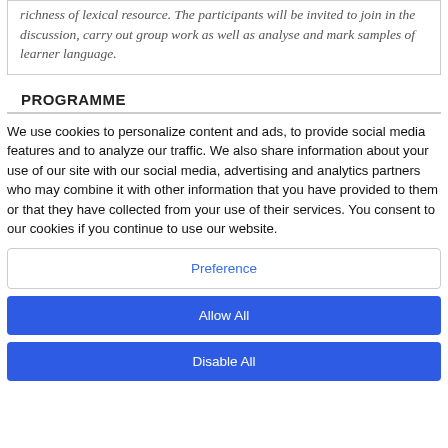richness of lexical resource. The participants will be invited to join in the discussion, carry out group work as well as analyse and mark samples of learner language.
PROGRAMME
We use cookies to personalize content and ads, to provide social media features and to analyze our traffic. We also share information about your use of our site with our social media, advertising and analytics partners who may combine it with other information that you have provided to them or that they have collected from your use of their services. You consent to our cookies if you continue to use our website.
Preference
Allow All
Disable All